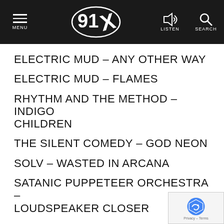MENU | 91X | LISTEN | SEARCH
ELECTRIC MUD – ANY OTHER WAY
ELECTRIC MUD – FLAMES
RHYTHM AND THE METHOD – INDIGO CHILDREN
THE SILENT COMEDY – GOD NEON
SOLV – WASTED IN ARCANA
SATANIC PUPPETEER ORCHESTRA – LOUDSPEAKER CLOSER
END OF SHOW...
************************************